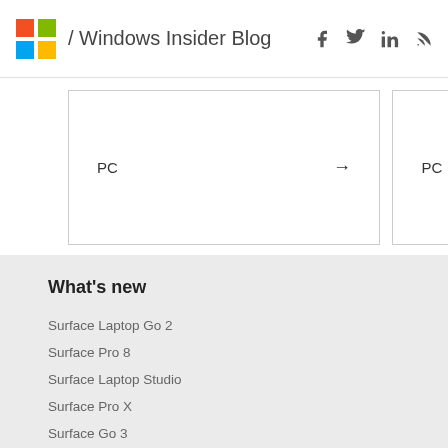/ Windows Insider Blog
[Figure (screenshot): Partial card UI showing 'PC' label and right arrow, with another partial 'PC' card on the right]
What's new
Surface Laptop Go 2
Surface Pro 8
Surface Laptop Studio
Surface Pro X
Surface Go 3
Surface Duo 2